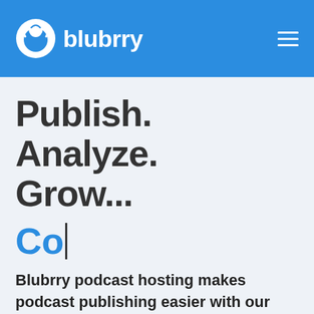blubrry
Publish. Analyze. Grow...
Co|
Blubrry podcast hosting makes podcast publishing easier with our smooth publishing platform, live customer